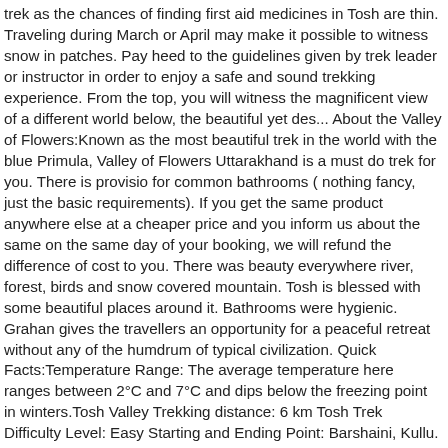trek as the chances of finding first aid medicines in Tosh are thin. Traveling during March or April may make it possible to witness snow in patches. Pay heed to the guidelines given by trek leader or instructor in order to enjoy a safe and sound trekking experience. From the top, you will witness the magnificent view of a different world below, the beautiful yet des... About the Valley of Flowers:Known as the most beautiful trek in the world with the blue Primula, Valley of Flowers Uttarakhand is a must do trek for you. There is provisio for common bathrooms ( nothing fancy, just the basic requirements). If you get the same product anywhere else at a cheaper price and you inform us about the same on the same day of your booking, we will refund the difference of cost to you. There was beauty everywhere river, forest, birds and snow covered mountain. Tosh is blessed with some beautiful places around it. Bathrooms were hygienic. Grahan gives the travellers an opportunity for a peaceful retreat without any of the humdrum of typical civilization. Quick Facts:Temperature Range: The average temperature here ranges between 2°C and 7°C and dips below the freezing point in winters.Tosh Valley Trekking distance: 6 km Tosh Trek Difficulty Level: Easy Starting and Ending Point: Barshaini, Kullu. [1][2] The main occupation of the people in Parvati valley is Tourism. Porters and mules will be available and will carry a maximum of only 10kgs. Available Group Departures:March: 16, 23, 28April: 4, 6, 11, 18, 27May: 4, 11, 18, 25About the Everest Base Camp:With its daunting summit soaring high up above the mountain, trekking